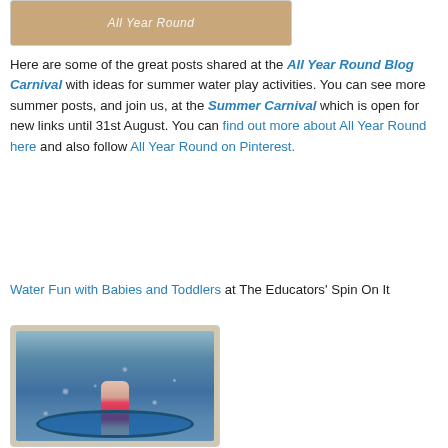[Figure (photo): Photo with text 'All Year Round' written in sand on a beach background]
Here are some of the great posts shared at the All Year Round Blog Carnival with ideas for summer water play activities. You can see more summer posts, and join us, at the Summer Carnival which is open for new links until 31st August. You can find out more about All Year Round here and also follow All Year Round on Pinterest.
Water Fun with Babies and Toddlers at The Educators' Spin On It
[Figure (photo): A young girl standing in a small blue inflatable pool with sparkling water splashing around her]